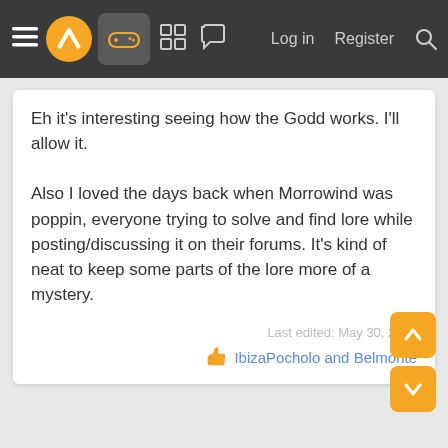≡ [logo] [game icon] [grid icon] [chat icon]   Log in   Register   [search]
Eh it's interesting seeing how the Godd works. I'll allow it.

Also I loved the days back when Morrowind was poppin, everyone trying to solve and find lore while posting/discussing it on their forums. It's kind of neat to keep some parts of the lore more of a mystery.
Last edited: May 30, 2021
IbizaPocholo and Belmonte